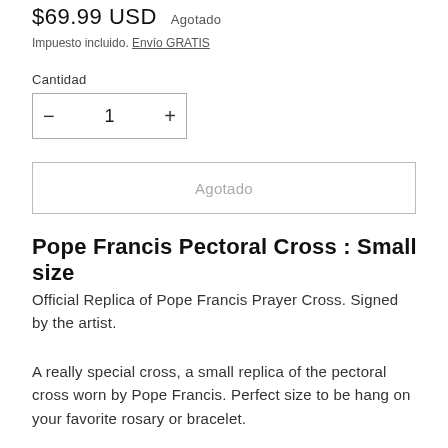$69.99 USD   Agotado
Impuesto incluido. Envío GRATIS
Cantidad
− 1 +
Agotado
Pope Francis Pectoral Cross : Small size
Official Replica of Pope Francis Prayer Cross. Signed by the artist.
A really special cross, a small replica of the pectoral cross worn by Pope Francis. Perfect size to be hang on your favorite rosary or bracelet.